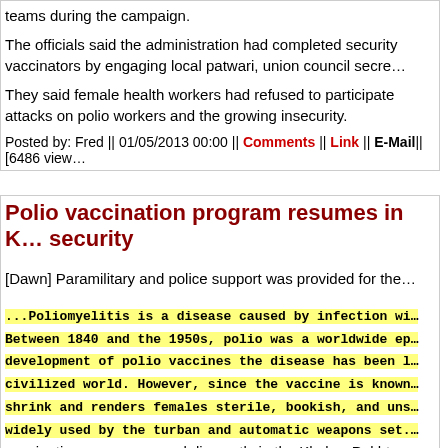teams during the campaign.
The officials said the administration had completed security vaccinators by engaging local patwari, union council secre...
They said female health workers had refused to participate attacks on polio workers and the growing insecurity.
Posted by: Fred || 01/05/2013 00:00 || Comments || Link || E-Mail|| [6486 view...
Polio vaccination program resumes in K... security
[Dawn] Paramilitary and police support was provided for the...
...Poliomyelitis is a disease caused by infection wi... Between 1840 and the 1950s, polio was a worldwide ep... development of polio vaccines the disease has been l... civilized world. However, since the vaccine is known... shrink and renders females sterile, bookish, and uns... widely used by the turban and automatic weapons set....
vaccinations were resumed discreetly in the Khyber-Pakhtu...
... formerly NWFP, still Terrorism Central...
province after recent attacks on workers, officials said on F...
UN agencies suspended work on a nationwide campaign to...